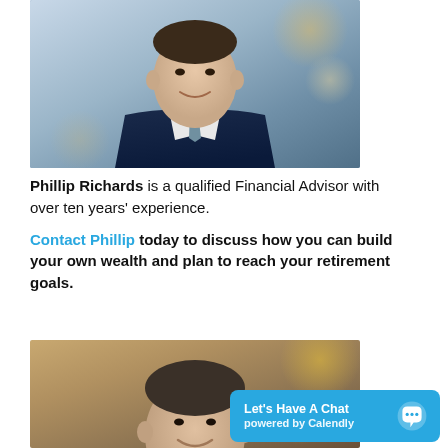[Figure (photo): Professional headshot of Phillip Richards, a man in a navy suit and patterned tie, smiling, with a blurred outdoor background]
Phillip Richards is a qualified Financial Advisor with over ten years' experience.
Contact Phillip today to discuss how you can build your own wealth and plan to reach your retirement goals.
[Figure (photo): Partial headshot of a man smiling, with a blurred outdoor background with warm tones]
Let's Have A Chat powered by Calendly